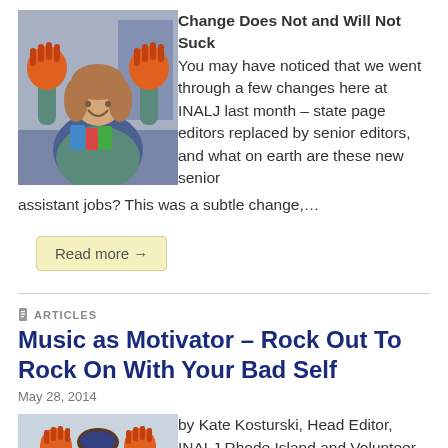[Figure (photo): Woman sitting holding up orange hand-painted decorations, in a classroom or event setting with shelves in background.]
Change Does Not and Will Not Suck You may have noticed that we went through a few changes here at INALJ last month – state page editors replaced by senior editors, and what on earth are these new senior assistant jobs? This was a subtle change,…
Read more →
ARTICLES
Music as Motivator – Rock Out To Rock On With Your Bad Self
May 28, 2014
[Figure (photo): A person in front of a whiteboard holding up orange hand-painted decorations.]
by Kate Kosturski, Head Editor, INALJ Rhode Island and Volunteer Coordinator Music as Motivator –